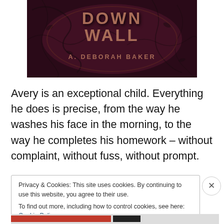[Figure (photo): Book cover showing title text partially visible — 'DOWN WALL' and 'A. DEBORAH BAKER' on a dark maroon background with vine/branch decorative overlay in shades of brown and dark red.]
Avery is an exceptional child. Everything he does is precise, from the way he washes his face in the morning, to the way he completes his homework – without complaint, without fuss, without prompt.
Privacy & Cookies: This site uses cookies. By continuing to use this website, you agree to their use.
To find out more, including how to control cookies, see here: Cookie Policy